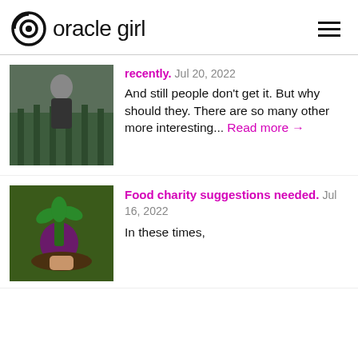oracle girl
[Figure (photo): A person in a black top standing in a greenhouse or garden with rows of plants]
recently. Jul 20, 2022
And still people don't get it. But why should they. There are so many other more interesting... Read more →
[Figure (photo): A hand holding a freshly harvested beetroot with soil and leaves]
Food charity suggestions needed. Jul 16, 2022
In these times,